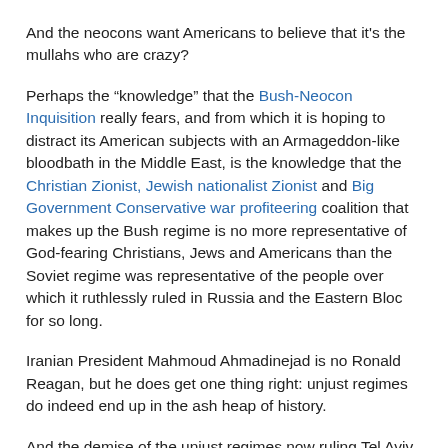And the neocons want Americans to believe that it’s the mullahs who are crazy?
Perhaps the “knowledge” that the Bush-Neocon Inquisition really fears, and from which it is hoping to distract its American subjects with an Armageddon-like bloodbath in the Middle East, is the knowledge that the Christian Zionist, Jewish nationalist Zionist and Big Government Conservative war profiteering coalition that makes up the Bush regime is no more representative of God-fearing Christians, Jews and Americans than the Soviet regime was representative of the people over which it ruthlessly ruled in Russia and the Eastern Bloc for so long.
Iranian President Mahmoud Ahmadinejad is no Ronald Reagan, but he does get one thing right: unjust regimes do indeed end up in the ash heap of history.
And the demise of the unjust regimes now ruling Tel Aviv and Washington will be no more lamented by the world than was the downfall of the Soviet regime by average Russian, Polish, Ukrainian and East German citizens who wanted